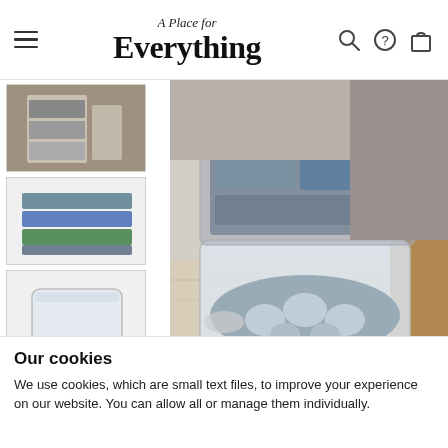A Place for Everything — navigation header with hamburger menu, logo, search, help, and cart icons
[Figure (photo): Thumbnail 1: shelf storage unit with boxes in a room setting]
[Figure (photo): Thumbnail 2: stacked folded textiles (grey, blue, green)]
[Figure (photo): Thumbnail 3: clear white plastic storage bin without lid]
[Figure (photo): Thumbnail 4: beige card reading SHOW ME MORE.]
[Figure (photo): Main product photo: large clear plastic storage box containing a polka-dot grey cushion/blanket and grey folded textiles; a mesh bag of clothes sits on top; wooden furniture in background on light wooden floor]
Our cookies
We use cookies, which are small text files, to improve your experience on our website. You can allow all or manage them individually.